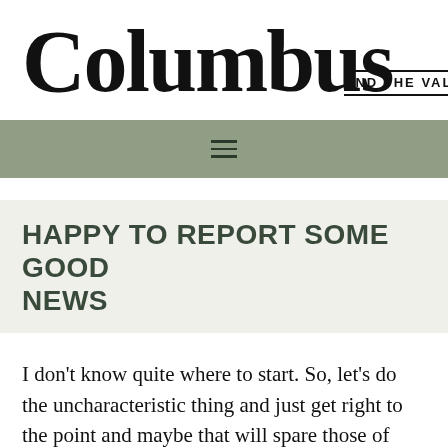[Figure (logo): Columbus and the Valley magazine logo — large bold serif 'Columbus' text with 'AND THE VALLEY' tagline banner overlaid]
[Figure (other): Sage green navigation bar with hamburger menu icon (three horizontal lines)]
HAPPY TO REPORT SOME GOOD NEWS
I don't know quite where to start. So, let's do the uncharacteristic thing and just get right to the point and maybe that will spare those of you who're not interested